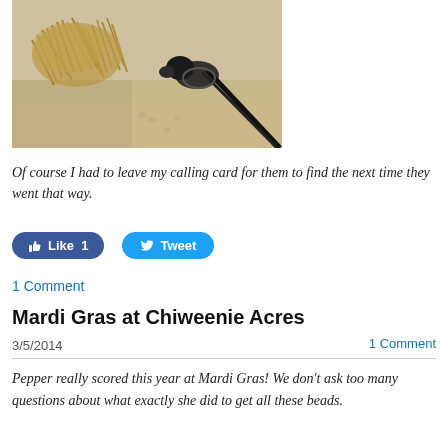[Figure (photo): A small black dog on a leash standing on sandy beach near dry straw/grass, viewed from above]
Of course I had to leave my calling card for them to find the next time they went that way.
Like 1   Tweet
1 Comment
Mardi Gras at Chiweenie Acres
3/5/2014
1 Comment
Pepper really scored this year at Mardi Gras! We don't ask too many questions about what exactly she did to get all these beads.